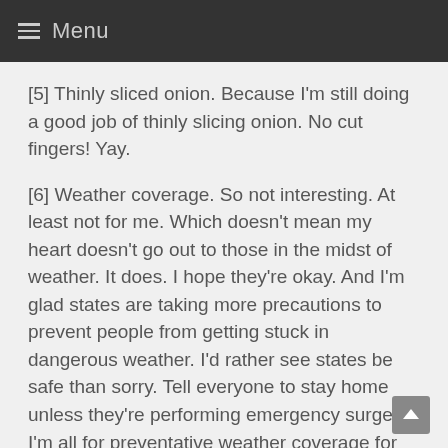Menu
[5] Thinly sliced onion. Because I'm still doing a good job of thinly slicing onion. No cut fingers! Yay.
[6] Weather coverage. So not interesting. At least not for me. Which doesn't mean my heart doesn't go out to those in the midst of weather. It does. I hope they're okay. And I'm glad states are taking more precautions to prevent people from getting stuck in dangerous weather. I'd rather see states be safe than sorry. Tell everyone to stay home unless they're performing emergency surgery. I'm all for preventative weather coverage for the sake of helping people avoid poor decision making regarding travel. But otherwise, I can't watch weather coverage.